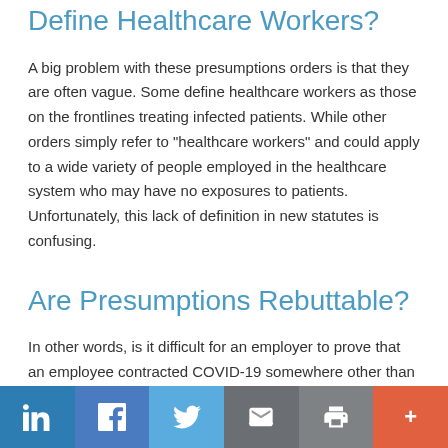Define Healthcare Workers?
A big problem with these presumptions orders is that they are often vague. Some define healthcare workers as those on the frontlines treating infected patients. While other orders simply refer to "healthcare workers" and could apply to a wide variety of people employed in the healthcare system who may have no exposures to patients. Unfortunately, this lack of definition in new statutes is confusing.
Are Presumptions Rebuttable?
In other words, is it difficult for an employer to prove that an employee contracted COVID-19 somewhere other than the workplace? While not impossible, it will be challenging, especially since the goal of presumption laws is to shift the burden of